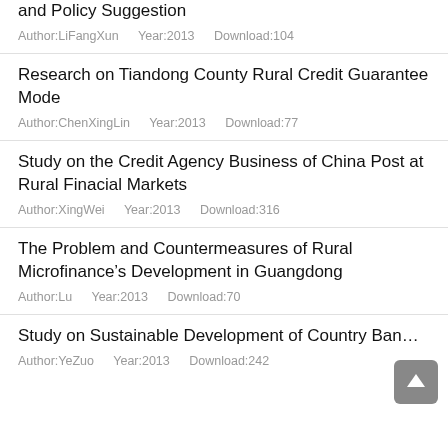and Policy Suggestion
Author:LiFangXun   Year:2013   Download:104
Research on Tiandong County Rural Credit Guarantee Mode
Author:ChenXingLin   Year:2013   Download:77
Study on the Credit Agency Business of China Post at Rural Finacial Markets
Author:XingWei   Year:2013   Download:316
The Problem and Countermeasures of Rural Microfinance’s Development in Guangdong
Author:Lu   Year:2013   Download:70
Study on Sustainable Development of Country Ban…
Author:YeZuo   Year:2013   Download:242